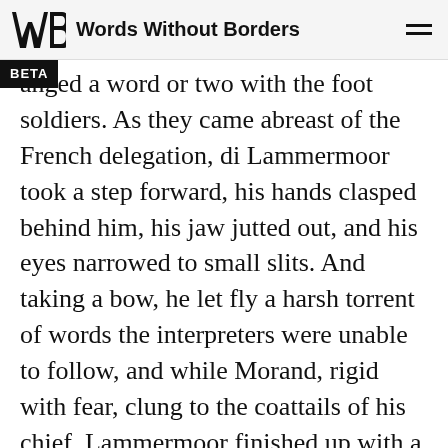Words Without Borders
anged a word or two with the foot soldiers. As they came abreast of the French delegation, di Lammermoor took a step forward, his hands clasped behind him, his jaw jutted out, and his eyes narrowed to small slits. And taking a bow, he let fly a harsh torrent of words the interpreters were unable to follow, and while Morand, rigid with fear, clung to the coattails of his chief, Lammermoor finished up with a resounding, “Long live the Soviet Union! Long live the Revolution!” and raised his fist in the air.
h tilted head and open mouth, as if he were hard of hearing, the Russian listened to his